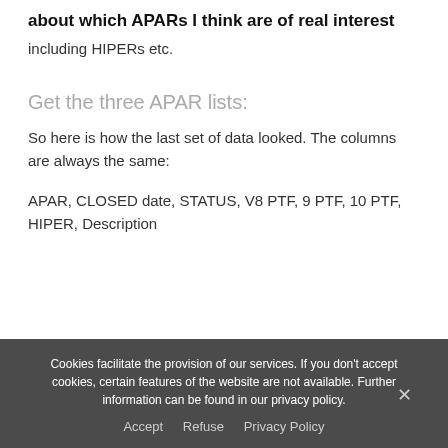about which APARs I think are of real interest
including HIPERs etc.
Get the three APAR lists:
So here is how the last set of data looked. The columns are always the same:
APAR, CLOSED date, STATUS, V8 PTF, 9 PTF, 10 PTF, HIPER, Description
Cookies facilitate the provision of our services. If you don't accept cookies, certain features of the website are not available. Further information can be found in our privacy policy.
Accept   Refuse   Privacy Policy